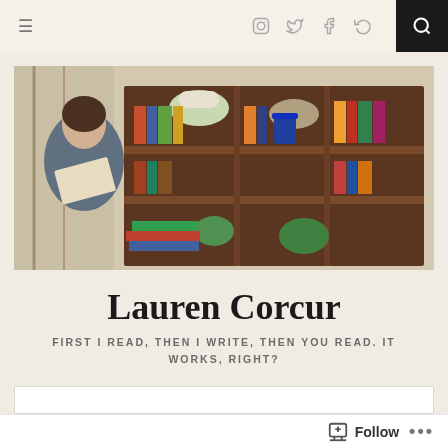≡  [icons: instagram, twitter, facebook, circle-arrow]  [search]
[Figure (photo): Woman in grey t-shirt reading a book in front of a large wooden bookcase filled with colorful books and plants]
Lauren Corcur
FIRST I READ, THEN I WRITE, THEN YOU READ. IT WORKS, RIGHT?
Follow  ...